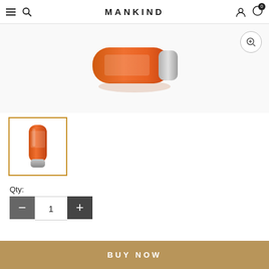MANKIND
[Figure (photo): Product shot of an orange tube (Lancaster or similar skincare product), shown partially cropped at top, with a zoom-in magnifier icon overlay at top-right]
[Figure (photo): Thumbnail of orange skincare tube product with gold-selected border]
Qty:
1
BUY NOW